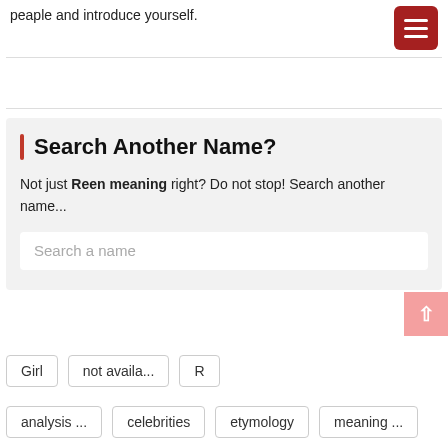peaple and introduce yourself.
Search Another Name?
Not just Reen meaning right? Do not stop! Search another name...
Search a name
Girl
not availa...
R
analysis ...
celebrities
etymology
meaning ...